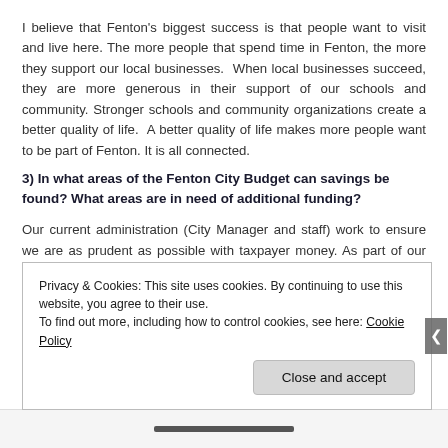I believe that Fenton's biggest success is that people want to visit and live here. The more people that spend time in Fenton, the more they support our local businesses. When local businesses succeed, they are more generous in their support of our schools and community. Stronger schools and community organizations create a better quality of life. A better quality of life makes more people want to be part of Fenton. It is all connected.
3) In what areas of the Fenton City Budget can savings be found? What areas are in need of additional funding?
Our current administration (City Manager and staff) work to ensure we are as prudent as possible with taxpayer money. As part of our annual budget process, we look at each department to review requested increases and potential decreases.
Privacy & Cookies: This site uses cookies. By continuing to use this website, you agree to their use.
To find out more, including how to control cookies, see here: Cookie Policy
Close and accept